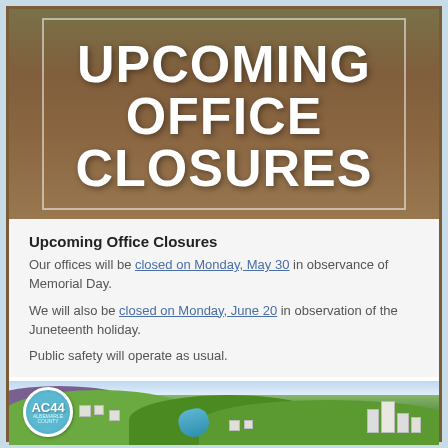[Figure (photo): Government building with columns, brown-tinted overlay, with 'UPCOMING OFFICE CLOSURES' text in white bold capital letters, framed by a white border rectangle]
Upcoming Office Closures
Our offices will be closed on Monday, May 30 in observance of Memorial Day.

We will also be closed on Monday, June 20 in observation of the Juneteenth holiday.

Public safety will operate as usual.
[Figure (illustration): AC44 Albemarle County illustration showing green hills, small houses, a river, purple mountain in background, and AC44 logo badge on the left]